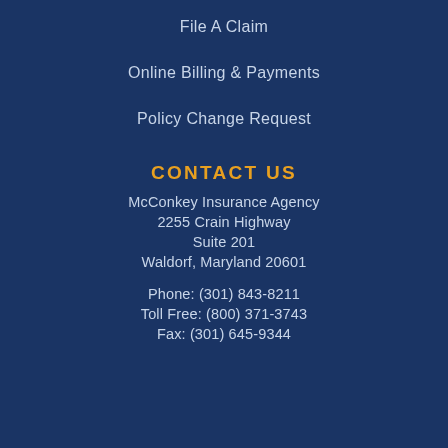File A Claim
Online Billing & Payments
Policy Change Request
CONTACT US
McConkey Insurance Agency
2255 Crain Highway
Suite 201
Waldorf, Maryland 20601
Phone: (301) 843-8211
Toll Free: (800) 371-3743
Fax: (301) 645-9344